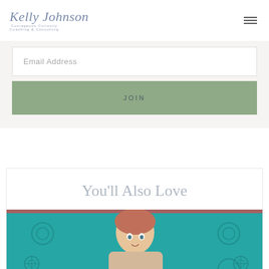Kelly Johnson — Courageous Curiosity Coaching & Consulting
Email Address
JOIN
You'll Also Love
[Figure (photo): Photo of a woman with reddish hair against a teal patterned background, looking surprised or playful]